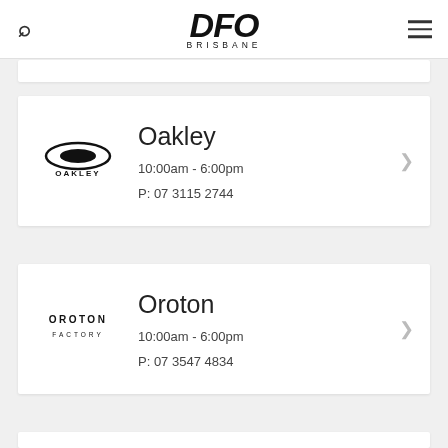DFO BRISBANE
Oakley
10:00am - 6:00pm
P: 07 3115 2744
Oroton
10:00am - 6:00pm
P: 07 3547 4834